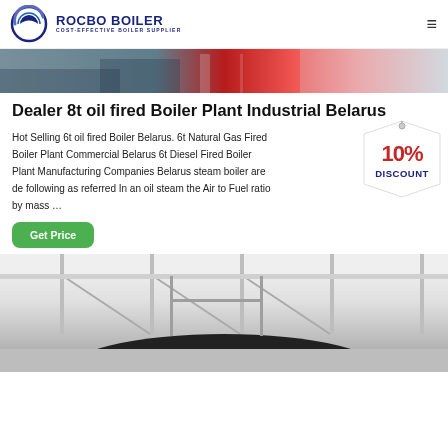[Figure (logo): Rocbo Boiler logo with circular blue icon and text 'ROCBO BOILER, COST-EFFECTIVE BOILER SUPPLIER']
[Figure (photo): Top banner photo showing an industrial or exhibition hall scene with red and gray elements]
Dealer 8t oil fired Boiler Plant Industrial Belarus
Hot Selling 6t oil fired Boiler Belarus. 6t Natural Gas Fired Boiler Plant Commercial Belarus 6t Diesel Fired Boiler Plant Manufacturing Companies Belarus steam boiler are de following as referred In an oil steam the Air to Fuel ratio by mass …
[Figure (infographic): 10% DISCOUNT badge in red and blue text on a tag shape]
[Figure (photo): Bottom photo showing interior of an industrial building with scaffolding and a dark boat or tank structure in the foreground]